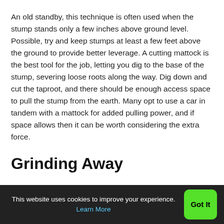An old standby, this technique is often used when the stump stands only a few inches above ground level. Possible, try and keep stumps at least a few feet above the ground to provide better leverage. A cutting mattock is the best tool for the job, letting you dig to the base of the stump, severing loose roots along the way. Dig down and cut the taproot, and there should be enough access space to pull the stump from the earth. Many opt to use a car in tandem with a mattock for added pulling power, and if space allows then it can be worth considering the extra force.
Grinding Away
This website uses cookies to improve your experience. Learn More